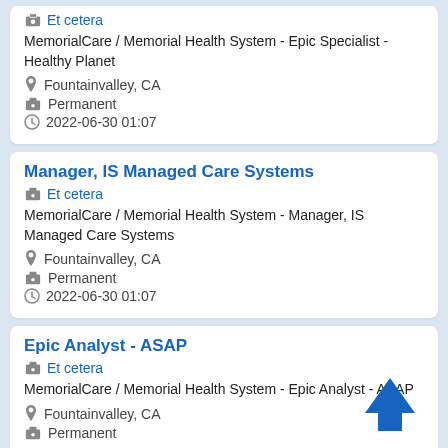Et cetera | MemorialCare / Memorial Health System - Epic Specialist - Healthy Planet | Fountainvalley, CA | Permanent | 2022-06-30 01:07
Manager, IS Managed Care Systems
Et cetera | MemorialCare / Memorial Health System - Manager, IS Managed Care Systems | Fountainvalley, CA | Permanent | 2022-06-30 01:07
Epic Analyst - ASAP
Et cetera | MemorialCare / Memorial Health System - Epic Analyst - ASAP | Fountainvalley, CA | Permanent